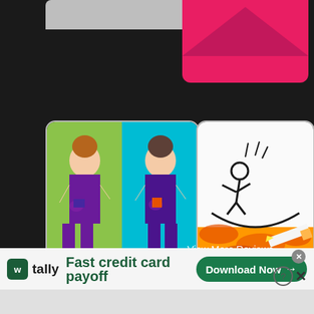[Figure (screenshot): Mobile app screenshot showing game app icon thumbnails on dark background. Top-left shows partial grey card, top-right shows partial pink/red envelope icon. Middle-left card shows cartoon elderly women (grandma characters) side-by-side. Middle-right card shows a stick figure being bounced on a pencil drawing game. Bottom-left card shows a blue stick figure aiming a rifle at a raccoon target.]
View More Reviews→
[Figure (screenshot): Advertisement banner for Tally app. Shows Tally logo (green square with W), 'tally' text, tagline 'Fast credit card payoff', and a green 'Download Now →' button. Has close X button and help/info icons.]
tally
Fast credit card payoff
Download Now →